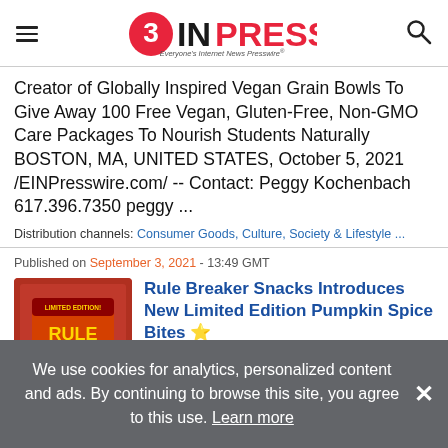EINPresswire - Everyone's Internet News Presswire
Creator of Globally Inspired Vegan Grain Bowls To Give Away 100 Free Vegan, Gluten-Free, Non-GMO Care Packages To Nourish Students Naturally BOSTON, MA, UNITED STATES, October 5, 2021 /EINPresswire.com/ -- Contact: Peggy Kochenbach 617.396.7350 peggy ...
Distribution channels: Consumer Goods, Culture, Society & Lifestyle ...
Published on September 3, 2021 - 13:49 GMT
[Figure (photo): Rule Breaker Pumpkin Spice Bites product bag - red/orange packaging with LIMITED EDITION text]
Rule Breaker Snacks Introduces New Limited Edition Pumpkin Spice Bites ⭐
New Rule Breaker Pumpkin Spice Bites Are Plant-Based Pumpkin Perfection!
We use cookies for analytics, personalized content and ads. By continuing to browse this site, you agree to this use. Learn more